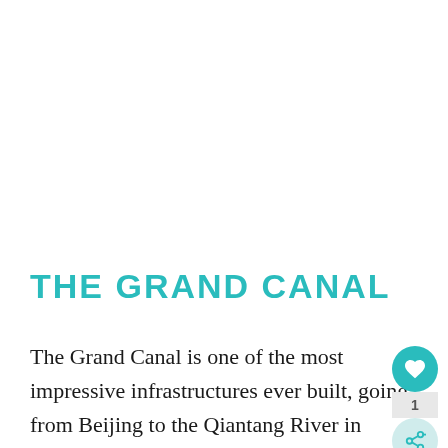THE GRAND CANAL
The Grand Canal is one of the most impressive infrastructures ever built, going from Beijing to the Qiantang River in Hangzhou.